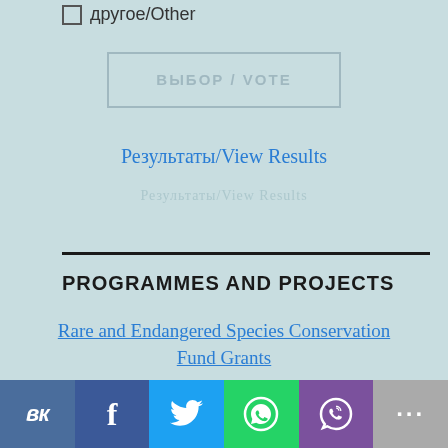другое/Other
ВЫБОР / VOTE
Результаты/View Results
PROGRAMMES AND PROJECTS
Rare and Endangered Species Conservation Fund Grants
[Figure (photo): Sea turtle swimming underwater against a blue background]
[Figure (infographic): Social media sharing bar with VK, Facebook, Twitter, WhatsApp, Viber, and more options buttons]